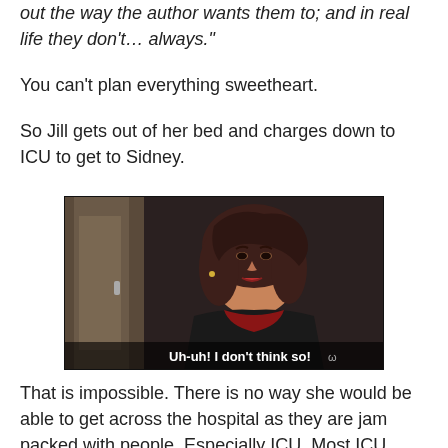out the way the author wants them to; and in real life they don't… always."
You can't plan everything sweetheart.
So Jill gets out of her bed and charges down to ICU to get to Sidney.
[Figure (screenshot): Screenshot from a TV show showing a dark-haired woman with subtitle text: 'Uh-uh! I don't think so!']
That is impossible. There is no way she would be able to get across the hospital as they are jam packed with people. Especially ICU. Most ICU units actually are